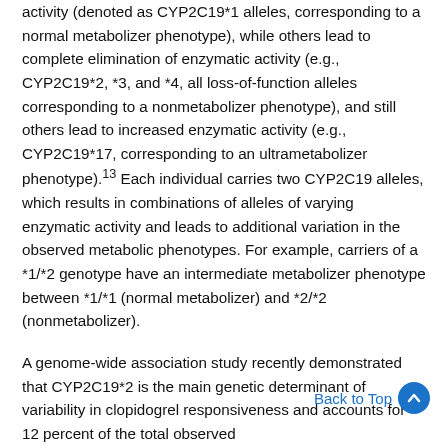activity (denoted as CYP2C19*1 alleles, corresponding to a normal metabolizer phenotype), while others lead to complete elimination of enzymatic activity (e.g., CYP2C19*2, *3, and *4, all loss-of-function alleles corresponding to a nonmetabolizer phenotype), and still others lead to increased enzymatic activity (e.g., CYP2C19*17, corresponding to an ultrametabolizer phenotype).¹³ Each individual carries two CYP2C19 alleles, which results in combinations of alleles of varying enzymatic activity and leads to additional variation in the observed metabolic phenotypes. For example, carriers of a *1/*2 genotype have an intermediate metabolizer phenotype between *1/*1 (normal metabolizer) and *2/*2 (nonmetabolizer).
A genome-wide association study recently demonstrated that CYP2C19*2 is the main genetic determinant of variability in clopidogrel responsiveness and accounts for 12 percent of the total observed